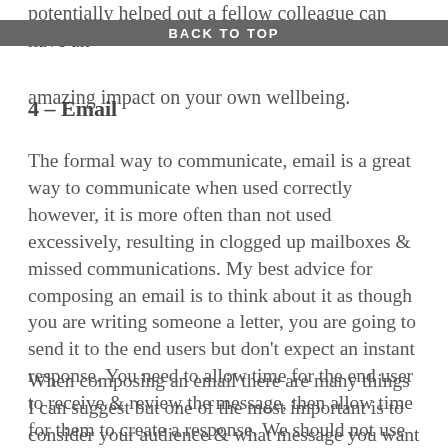potentially helped out a fellow colleague can have an amazing impact on your own wellbeing.
BACK TO TOP
4 – Email
The formal way to communicate, email is a great way to communicate when used correctly however, it is more often than not used excessively, resulting in clogged up mailboxes & missed communications. My best advice for composing an email is to think about it as though you are writing someone a letter, you are going to send it to the end users but don't expect an instant response. You need to allow time for the end user to receive & review the message, then allow time for them to create a response. We should not use email like 'instant messenger'.
When composing an email there are many things I can suggest but one of the most important is to consider your audience & what message you want to deliver, think of this